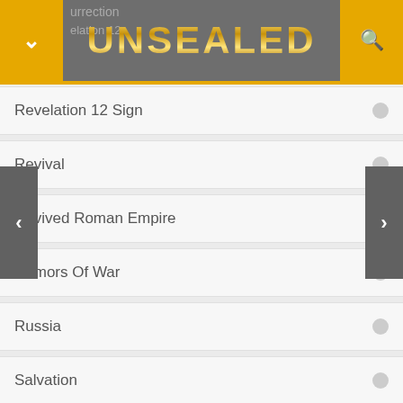UNSEALED
Revelation 12 Sign
Revival
Revived Roman Empire
Rumors Of War
Russia
Salvation
Sanhedrin
Saudi Arabia
Science